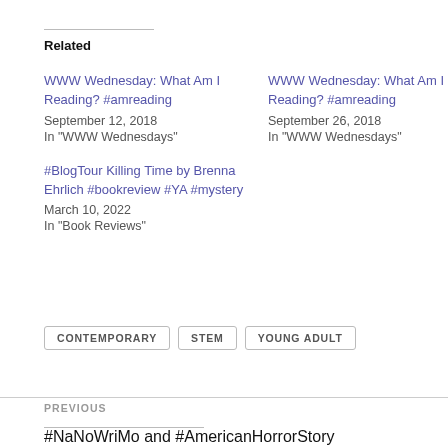Related
WWW Wednesday: What Am I Reading? #amreading
September 12, 2018
In "WWW Wednesdays"
WWW Wednesday: What Am I Reading? #amreading
September 26, 2018
In "WWW Wednesdays"
#BlogTour Killing Time by Brenna Ehrlich #bookreview #YA #mystery
March 10, 2022
In "Book Reviews"
CONTEMPORARY   STEM   YOUNG ADULT
PREVIOUS
#NaNoWriMo and #AmericanHorrorStory